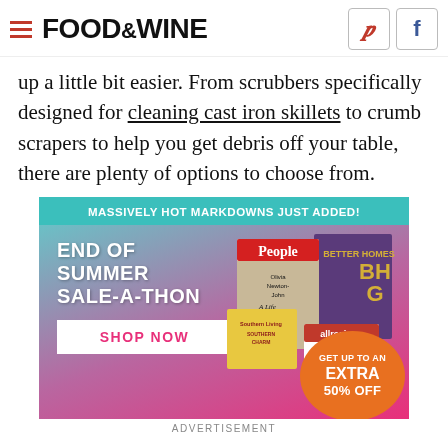FOOD&WINE
up a little bit easier. From scrubbers specifically designed for cleaning cast iron skillets to crumb scrapers to help you get debris off your table, there are plenty of options to choose from.
[Figure (infographic): Advertisement banner for End of Summer Sale-A-Thon with text MASSIVELY HOT MARKDOWNS JUST ADDED!, END OF SUMMER SALE-A-THON, SHOP NOW button, magazine covers (People, BHG, Southern Living, allrecipes), and GET UP TO AN EXTRA 50% OFF orange circle on teal-to-pink gradient background.]
ADVERTISEMENT